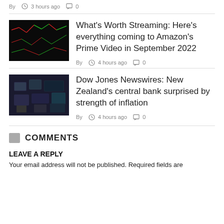By  3 hours ago  0
[Figure (photo): Dark stock market screen with red and green ticker data]
What's Worth Streaming: Here's everything coming to Amazon's Prime Video in September 2022
By  4 hours ago  0
[Figure (photo): Trading floor with screens and equipment]
Dow Jones Newswires: New Zealand's central bank surprised by strength of inflation
By  4 hours ago  0
COMMENTS
LEAVE A REPLY
Your email address will not be published. Required fields are